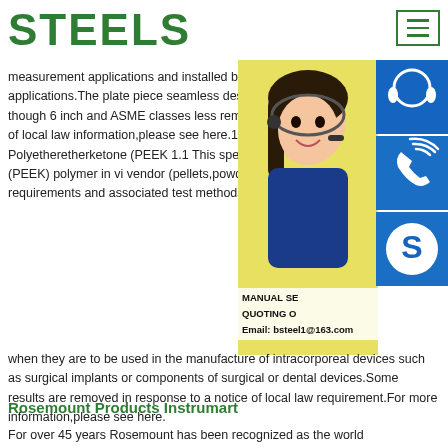STEELS
measurement applications and installed between flanges for restriction applications.The plate piece seamless design on 1/8-in.thick orifice inch though 6 inch and ASME classes less removed in response to a notice of local law information,please see here.12345NextStart Polyetheretherketone (PEEK 1.1 This spec polyetheretherketone (PEEK) polymer in vi vendor (pellets,powder,fabricated forms,and requirements and associated test methods when they are to be used in the manufacture of intracorporeal devices such as surgical implants or components of surgical or dental devices.Some results are removed in response to a notice of local law requirement.For more information,please see here.
[Figure (photo): Woman with headset smiling, customer service representative, with blue sidebar icons for support, phone, and Skype, and text overlays: MANUAL SE, QUOTING O, Email: bsteel1@163.com]
Rosemount Products Instrumart
For over 45 years Rosemount has been recognized as the world